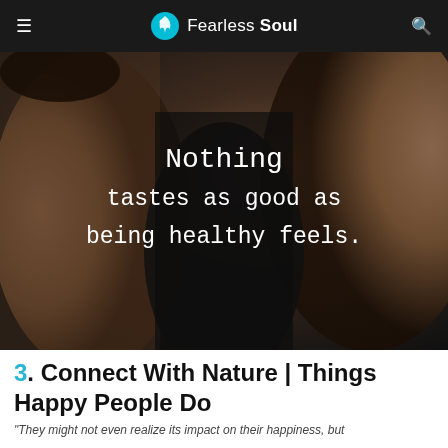Fearless Soul
[Figure (photo): Close-up of a fit woman in a black sports bra from behind, with motivational quote overlaid: 'Nothing tastes as good as being healthy feels.']
3. Connect With Nature | Things Happy People Do
"They might not even realize its impact on their happiness, but